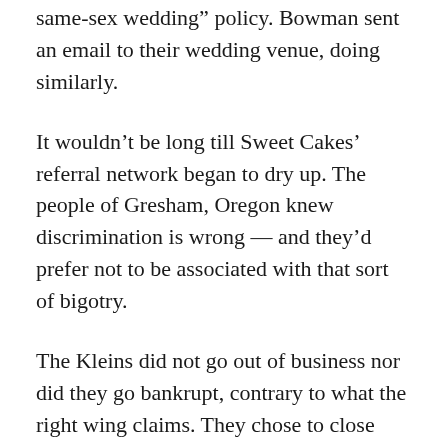same-sex wedding” policy. Bowman sent an email to their wedding venue, doing similarly.
It wouldn’t be long till Sweet Cakes’ referral network began to dry up. The people of Gresham, Oregon knew discrimination is wrong — and they’d prefer not to be associated with that sort of bigotry.
The Kleins did not go out of business nor did they go bankrupt, contrary to what the right wing claims. They chose to close their brick-and-mortar shop and take their business online, as many companies do.
Later, the Oregon DOJ sent Cryer’s consumer complaint to the Kleins, with a cover letter requesting